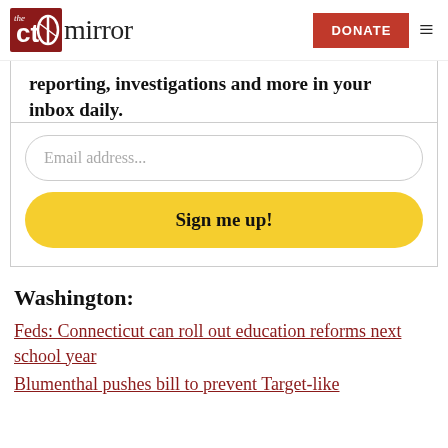The CT Mirror | DONATE
reporting, investigations and more in your inbox daily.
Email address...
Sign me up!
Washington:
Feds: Connecticut can roll out education reforms next school year
Blumenthal pushes bill to prevent Target-like